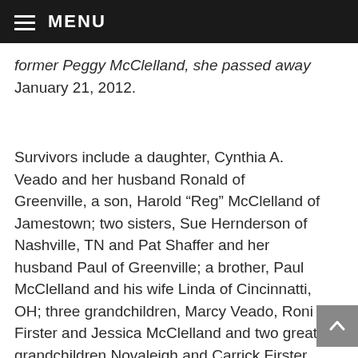MENU
former Peggy McClelland, she passed away January 21, 2012.
Survivors include a daughter, Cynthia A. Veado and her husband Ronald of Greenville, a son, Harold “Reg” McClelland of Jamestown; two sisters, Sue Hernderson of Nashville, TN and Pat Shaffer and her husband Paul of Greenville; a brother, Paul McClelland and his wife Linda of Cincinnatti, OH; three grandchildren, Marcy Veado, Roni Firster and Jessica McClelland and two great grandchildren Novaleigh and Carrick Firster. He was preceded in death by his parents, wife, a grandson, Josh Veado, three sisters, Rita Eakin, Vera Fox and Jean Oakes and a brother,